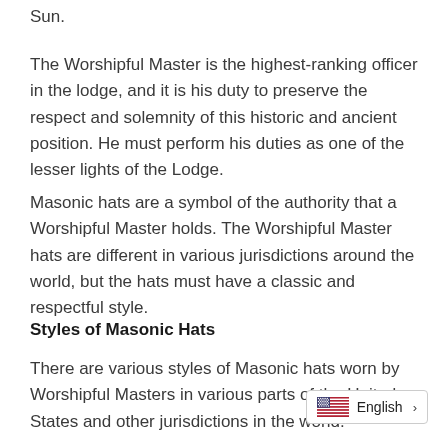Sun.
The Worshipful Master is the highest-ranking officer in the lodge, and it is his duty to preserve the respect and solemnity of this historic and ancient position. He must perform his duties as one of the lesser lights of the Lodge.
Masonic hats are a symbol of the authority that a Worshipful Master holds. The Worshipful Master hats are different in various jurisdictions around the world, but the hats must have a classic and respectful style.
Styles of Masonic Hats
There are various styles of Masonic hats worn by Worshipful Masters in various parts of the United States and other jurisdictions in the world.
[Figure (infographic): Language selector badge showing US flag and 'English' with a chevron arrow]